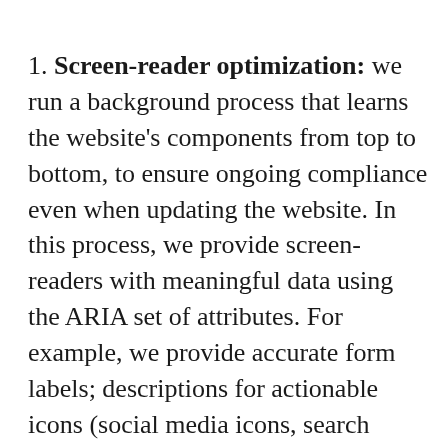1. Screen-reader optimization: we run a background process that learns the website's components from top to bottom, to ensure ongoing compliance even when updating the website. In this process, we provide screen-readers with meaningful data using the ARIA set of attributes. For example, we provide accurate form labels; descriptions for actionable icons (social media icons, search icons, cart icons, etc.); validation guidance for form inputs; element roles such as buttons, menus, modal dialogues (popups), and others.Additionally, the background process scans all of the website's images and provides an accurate and meaningful image-object-recognition-